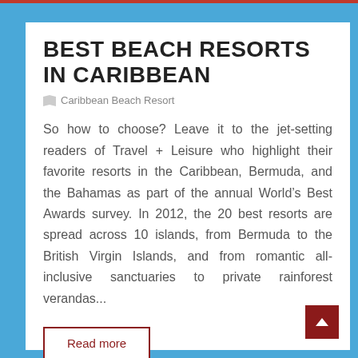BEST BEACH RESORTS IN CARIBBEAN
Caribbean Beach Resort
So how to choose? Leave it to the jet-setting readers of Travel + Leisure who highlight their favorite resorts in the Caribbean, Bermuda, and the Bahamas as part of the annual World's Best Awards survey. In 2012, the 20 best resorts are spread across 10 islands, from Bermuda to the British Virgin Islands, and from romantic all-inclusive sanctuaries to private rainforest verandas...
Read more